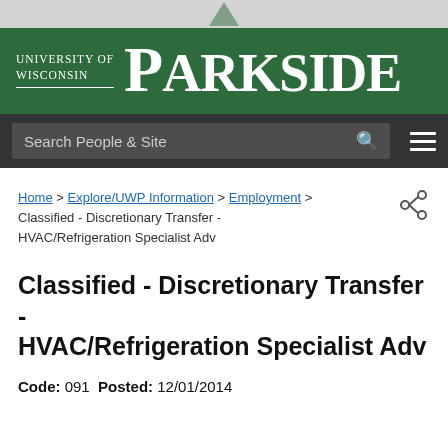[Figure (logo): University of Wisconsin-Parkside logo with white text on green background]
Search People & Site
Home > Explore/UWP Information > Employment > Classified - Discretionary Transfer - HVAC/Refrigeration Specialist Adv
Classified - Discretionary Transfer - HVAC/Refrigeration Specialist Adv
Code: 091  Posted: 12/01/2014